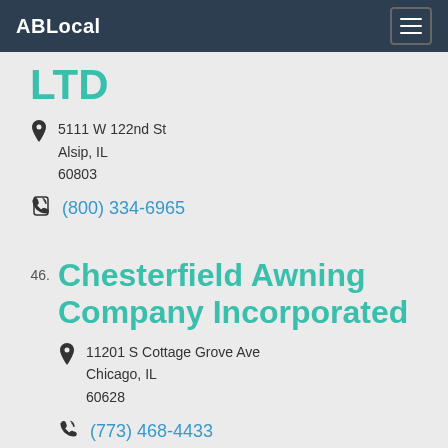ABLocal
LTD
5111 W 122nd St
Alsip, IL
60803
(800) 334-6965
46. Chesterfield Awning Company Incorporated
11201 S Cottage Grove Ave
Chicago, IL
60628
(773) 468-4433